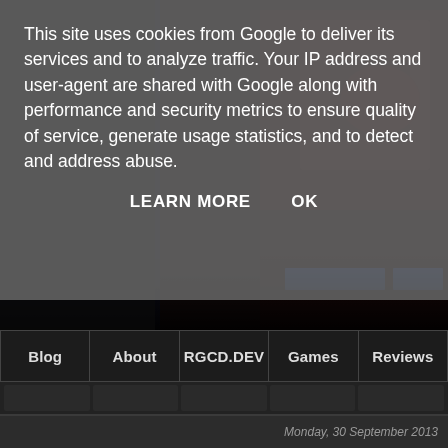[Figure (screenshot): Dark sci-fi themed website background image with dark tones, reddish elements in top right, and blue UI rectangles visible]
This site uses cookies from Google to deliver its services and to analyze traffic. Your IP address and user-agent are shared with Google along with performance and security metrics to ensure quality of service, generate usage statistics, and to detect and address abuse.
LEARN MORE   OK
Blog   About   RGCD.DEV   Games   Reviews
Monday, 30 September 2013
Inescapable (PC/Mac/Linux)
[Figure (screenshot): Game screenshot showing INESCAPABLE title screen with Continue and New Game menu buttons on dark starfield background]